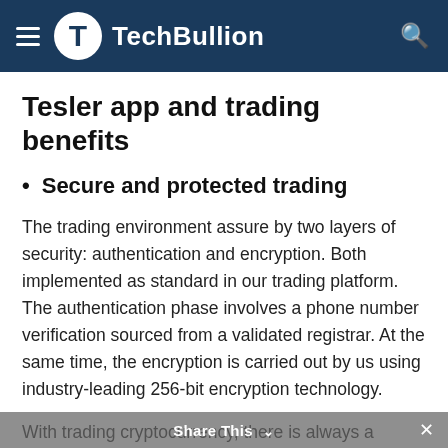TechBullion
Tesler app and trading benefits
Secure and protected trading
The trading environment assure by two layers of security: authentication and encryption. Both implemented as standard in our trading platform. The authentication phase involves a phone number verification sourced from a validated registrar. At the same time, the encryption is carried out by us using industry-leading 256-bit encryption technology.
With trading cryptocurrency, there is always a chance of fraud or loss. The network should remain secure, and the userbase should be aware of their responsibility to protect themselves. Tradex offers its clients a unique opportunity